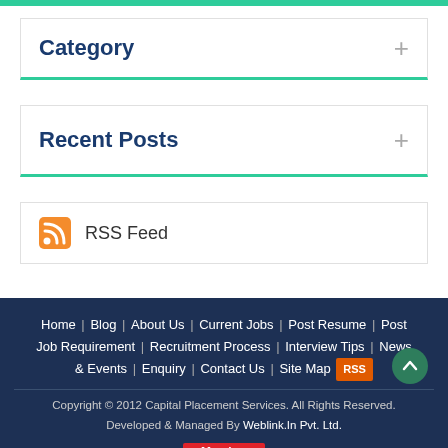Category
Recent Posts
RSS Feed
Home | Blog | About Us | Current Jobs | Post Resume | Post Job Requirement | Recruitment Process | Interview Tips | News & Events | Enquiry | Contact Us | Site Map RSS
Copyright © 2012 Capital Placement Services. All Rights Reserved. Developed & Managed By Weblink.In Pvt. Ltd.
[Figure (logo): PlacementINDIA member logo badge with red Member label above]